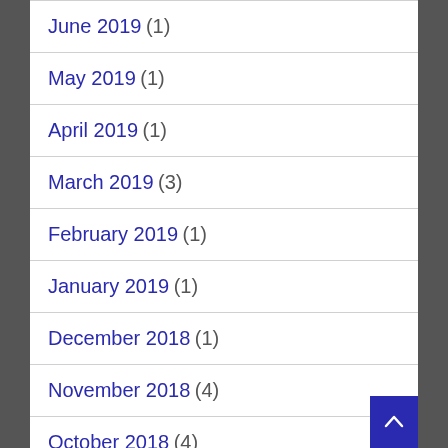June 2019 (1)
May 2019 (1)
April 2019 (1)
March 2019 (3)
February 2019 (1)
January 2019 (1)
December 2018 (1)
November 2018 (4)
October 2018 (4)